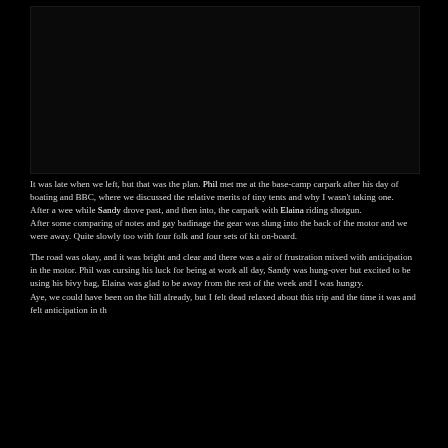[Figure (photo): A dark photograph, nearly black, showing an outdoor night or low-light scene at a basecamp carpark area.]
It was late when we left, but that was the plan. Phil met me at the base-camp carpark after his day of boating and BBC, where we discussed the relative merits of tiny tents and why I wasn't taking one.
After a wee while Sandy drove past, and then into, the carpark with Elaina riding shotgun.
After some comparing of notes and gay badinage the gear was slung into the back of the motor and we were away. Quite slowly too with four folk and four sets of kit on-board.

The road was okay, and it was bright and clear and there was a air of frustration mixed with anticipation in the motor. Phil was cursing his luck for being at work all day, Sandy was hung-over but excited to be using his bivy bag, Elaina was glad to be away from the rest of the week and I was hungry.
Aye, we could have been on the hill already, but I felt dead relaxed about this trip and the time it was and I felt anticipation in the...